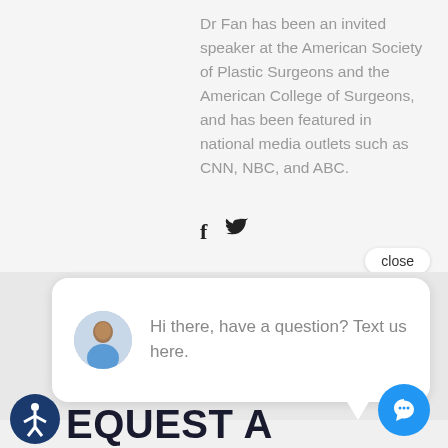Dr Fan has been an invited speaker at the American Society of Plastic Surgeons and the American College of Surgeons, and has been featured in national media outlets such as CNN, NBC, and ABC.
[Figure (screenshot): Social media icons: Facebook (f) and Twitter (bird) icons in dark color]
close
[Figure (screenshot): Chat widget bubble with avatar photo of a person in scrubs and text: Hi there, have a question? Text us here.]
REQUEST A VIRTUAL